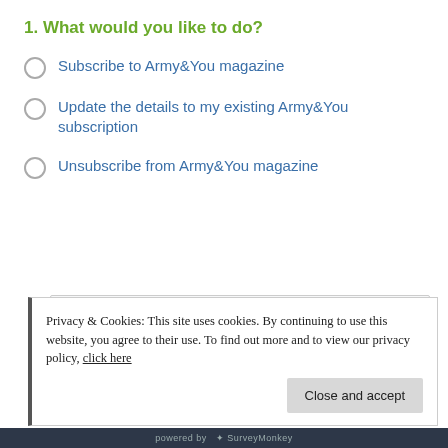1. What would you like to do?
Subscribe to Army&You magazine
Update the details to my existing Army&You subscription
Unsubscribe from Army&You magazine
Next
Privacy & Cookies: This site uses cookies. By continuing to use this website, you agree to their use. To find out more and to view our privacy policy, click here
Close and accept
powered by SurveyMonkey